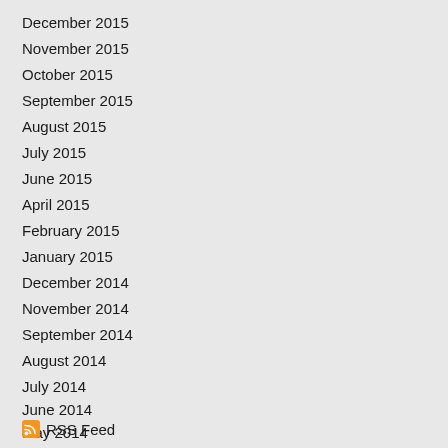December 2015
November 2015
October 2015
September 2015
August 2015
July 2015
June 2015
April 2015
February 2015
January 2015
December 2014
November 2014
September 2014
August 2014
July 2014
June 2014
May 2014
RSS Feed